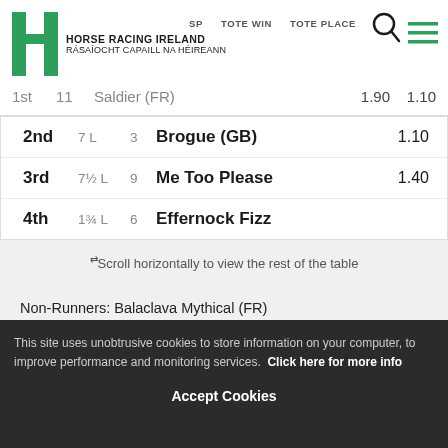HORSE RACING IRELAND RÁSAÍOCHT CAPAILL NA HÉIREANN | SP | TOTE WIN | TOTE PLACE
1st  11  Saldier (FR)  1.90  1.10
| Position | Distance | Number | Horse | Price |
| --- | --- | --- | --- | --- |
| 2nd | 7 L | 3 | Brogue (GB) | 1.10 |
| 3rd | 7½ L | 9 | Me Too Please | 1.40 |
| 4th | 1¾ L | 6 | Effernock Fizz |  |
⇄ Scroll horizontally to view the rest of the table
Non-Runners: Balaclava Mythical (FR)
13 ran Race Time: 2:55.3
Trainer: ...
This site uses unobtrusive cookies to store information on your computer, to improve performance and monitoring services. Click here for more info
Accept Cookies